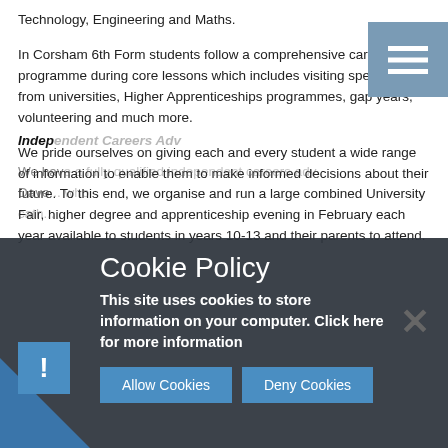Technology, Engineering and Maths.
In Corsham 6th Form students follow a comprehensive careers programme during core lessons which includes visiting speakers from universities, Higher Apprenticeships programmes, gap years, volunteering and much more.
We pride ourselves on giving each and every student a wide range of information to enable them to make informed decisions about their future. To this end, we organise and run a large combined University Fair, higher degree and apprenticeship evening in February each year available to students in years 10-13 and their parents to attend.
Independent Careers Advice
We have a fully qualified independent careers adviser, Dave... who...
Cookie Policy
This site uses cookies to store information on your computer. Click here for more information
Allow Cookies
Deny Cookies